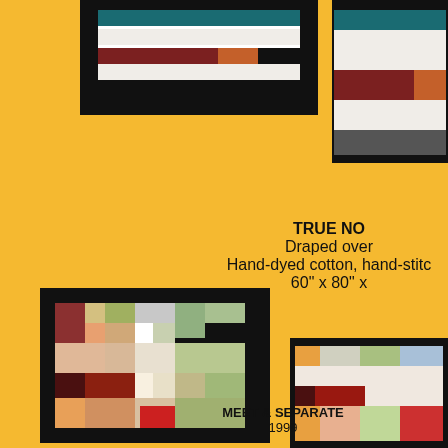[Figure (photo): Quilt photograph on black background, top-left, showing horizontal stripes of color including teal, white, dark red/maroon, orange, black segments]
[Figure (photo): Quilt photograph on black background, top-right (partially cropped), showing similar striped quilt draped over a surface]
TRUE NO
Draped over
Hand-dyed cotton, hand-stitch
60" x 80" x
[Figure (photo): Quilt photograph on black background, bottom-left, showing a colorful patchwork quilt with various colored rectangles including red, orange, pink, green, blue, tan, maroon]
[Figure (photo): Quilt photograph on black background, bottom-right (partially cropped), showing a colorful patchwork quilt laid flat with similar colored rectangles]
MEET & SEPARATE
1999